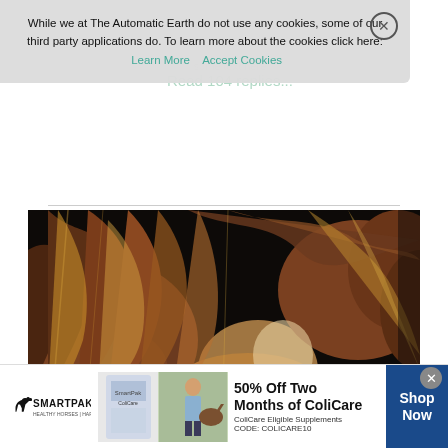While we at The Automatic Earth do not use any cookies, some of our third party applications do. To learn more about the cookies click here: Learn More  Accept Cookies
[Figure (photo): Close-up photograph of a horse's mane and head, brown fur with shaggy mane, dark background]
[Figure (infographic): SmartPak advertisement banner: 50% Off Two Months of ColiCare, ColiCare Eligible Supplements, CODE: COLICARE10, Shop Now button]